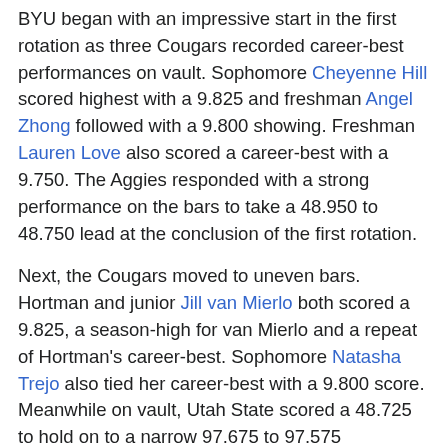BYU began with an impressive start in the first rotation as three Cougars recorded career-best performances on vault. Sophomore Cheyenne Hill scored highest with a 9.825 and freshman Angel Zhong followed with a 9.800 showing. Freshman Lauren Love also scored a career-best with a 9.750. The Aggies responded with a strong performance on the bars to take a 48.950 to 48.750 lead at the conclusion of the first rotation.
Next, the Cougars moved to uneven bars. Hortman and junior Jill van Mierlo both scored a 9.825, a season-high for van Mierlo and a repeat of Hortman's career-best. Sophomore Natasha Trejo also tied her career-best with a 9.800 score. Meanwhile on vault, Utah State scored a 48.725 to hold on to a narrow 97.675 to 97.575 advantage.
The third rotation featured BYU on beam with the Aggies on the floor. Three Cougars recorded career-best performances to help BYU to a 48.575 score. Freshman Hannah Miller scored highest with a 9.775 followed by sophomore